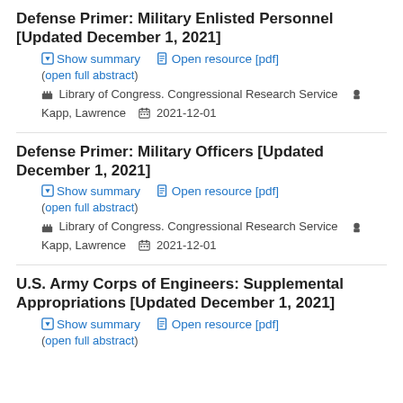Defense Primer: Military Enlisted Personnel [Updated December 1, 2021]
Show summary | Open resource [pdf] | (open full abstract)
Library of Congress. Congressional Research Service   Kapp, Lawrence   2021-12-01
Defense Primer: Military Officers [Updated December 1, 2021]
Show summary | Open resource [pdf] | (open full abstract)
Library of Congress. Congressional Research Service   Kapp, Lawrence   2021-12-01
U.S. Army Corps of Engineers: Supplemental Appropriations [Updated December 1, 2021]
Show summary | Open resource [pdf] | (open full abstract)